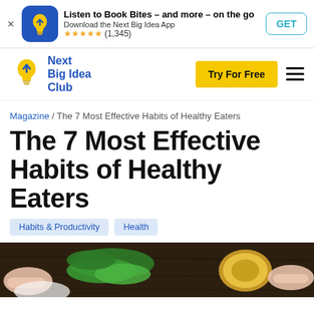Listen to Book Bites – and more – on the go
Download the Next Big Idea App
★★★★★ (1,345)  GET
[Figure (logo): Next Big Idea Club logo with lightbulb icon in blue/yellow and 'Try For Free' yellow button and hamburger menu]
Magazine / The 7 Most Effective Habits of Healthy Eaters
The 7 Most Effective Habits of Healthy Eaters
Habits & Productivity   Health
[Figure (photo): Hands reaching for healthy food including green vegetables and a lemon/avocado on a dark wooden surface]